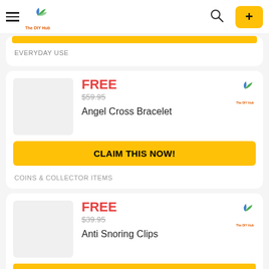The DIY Hub - navigation header with hamburger menu, logo, search, and plus button
EVERYDAY USE
FREE $59.95 Angel Cross Bracelet
CLAIM THIS NOW!
COINS & COLLECTOR ITEMS
FREE $39.95 Anti Snoring Clips